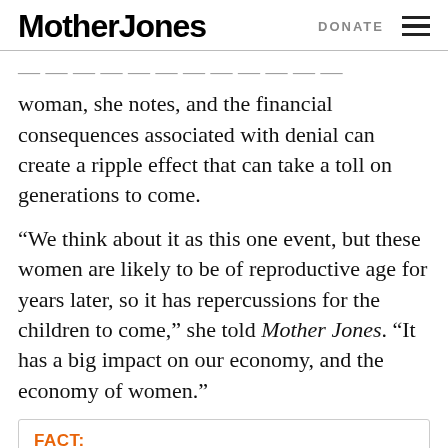Mother Jones | DONATE
woman, she notes, and the financial consequences associated with denial can create a ripple effect that can take a toll on generations to come.
“We think about it as this one event, but these women are likely to be of reproductive age for years later, so it has repercussions for the children to come,” she told Mother Jones. “It has a big impact on our economy, and the economy of women.”
FACT:
Mother Jones was founded as a nonprofit in 1976 because we knew corporations and the wealthy wouldn’t fund the type of hard-hitting